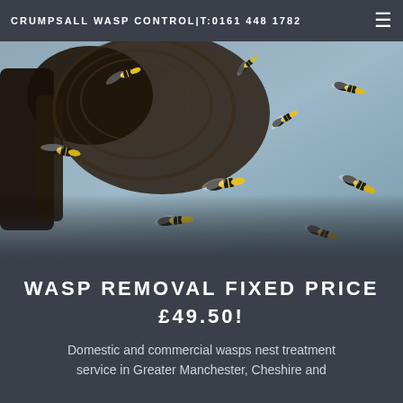CRUMPSALL WASP CONTROL|T:0161 448 1782
[Figure (photo): Close-up photograph of many yellow and black wasps swarming around a wasp nest attached to a branch, set against a blue-grey background]
WASP REMOVAL FIXED PRICE £49.50!
Domestic and commercial wasps nest treatment service in Greater Manchester, Cheshire and